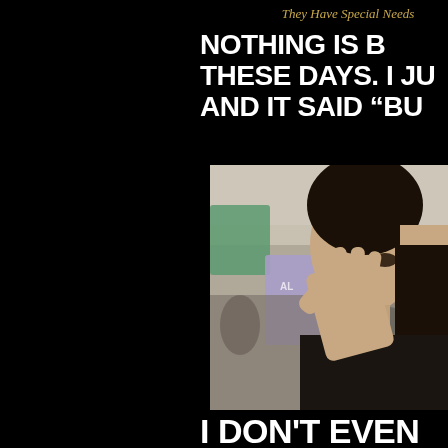They Have Special Needs
NOTHING IS B... THESE DAYS. I JU... AND IT SAID "BU...
[Figure (photo): A young woman at a protest, holding her hand up near her face, with protest signs visible in the blurred background.]
I DON'T EVEN